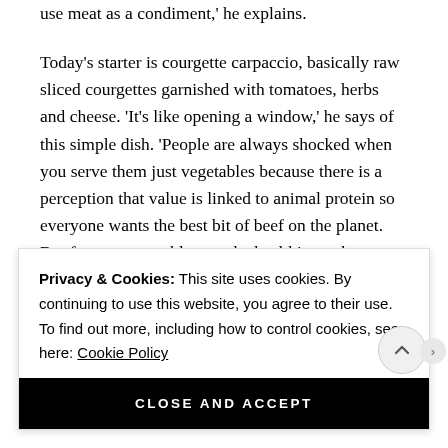use meat as a condiment,' he explains.

Today's starter is courgette carpaccio, basically raw sliced courgettes garnished with tomatoes, herbs and cheese. 'It's like opening a window,' he says of this simple dish. 'People are always shocked when you serve them just vegetables because there is a perception that value is linked to animal protein so everyone wants the best bit of beef on the planet. But for me, vegetables are the healthier and more valuable
Privacy & Cookies: This site uses cookies. By continuing to use this website, you agree to their use.
To find out more, including how to control cookies, see here: Cookie Policy
CLOSE AND ACCEPT